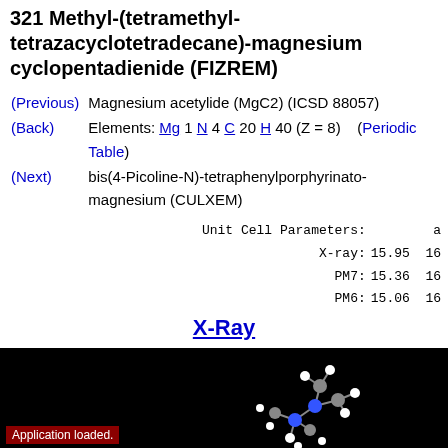321 Methyl-(tetramethyl-tetrazacyclotetradecane)-magnesium cyclopentadienide (FIZREM)
(Previous)  Magnesium acetylide (MgC2) (ICSD 88057)
(Back)      Elements: Mg 1 N 4 C 20 H 40 (Z = 8)   (Periodic Table)
(Next)      bis(4-Picoline-N)-tetraphenylporphyrinato-magnesium (CULXEM)
| Unit Cell Parameters: | a |
| --- | --- |
| X-ray: | 15.95  16 |
| PM7: | 15.36  16 |
| PM6: | 15.06  16 |
X-Ray
[Figure (photo): 3D molecular structure visualization on black background with Application loaded. overlay text]